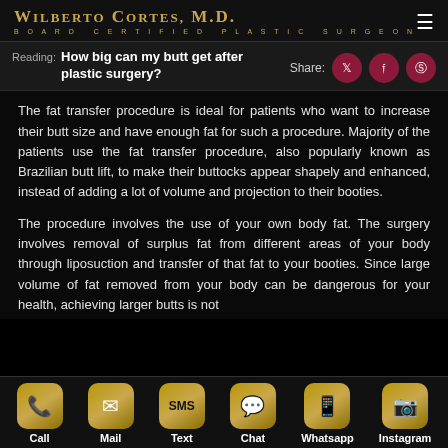WILBERTO CORTES, M.D. BOARD CERTIFIED PLASTIC SURGEON
Reading: How big can my butt get after plastic surgery? Share:
The fat transfer procedure is ideal for patients who want to increase their butt size and have enough fat for such a procedure. Majority of the patients use the fat transfer procedure, also popularly known as Brazilian butt lift, to make their buttocks appear shapely and enhanced, instead of adding a lot of volume and projection to their booties.
The procedure involves the use of your own body fat. The surgery involves removal of surplus fat from different areas of your body through liposuction and transfer of that fat to your booties. Since large volume of fat removed from your body can be dangerous for your health, achieving larger butts is not
Call  Mail  Text  Chat  Whatsapp  Instagram